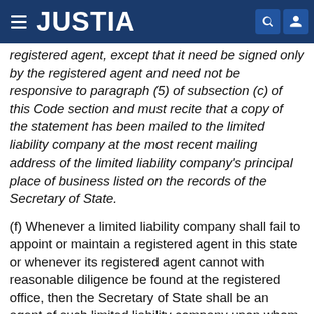JUSTIA
registered agent, except that it need be signed only by the registered agent and need not be responsive to paragraph (5) of subsection (c) of this Code section and must recite that a copy of the statement has been mailed to the limited liability company at the most recent mailing address of the limited liability company's principal place of business listed on the records of the Secretary of State.
(f) Whenever a limited liability company shall fail to appoint or maintain a registered agent in this state or whenever its registered agent cannot with reasonable diligence be found at the registered office, then the Secretary of State shall be an agent of such limited liability company upon whom any process, notice, or demand may be served. Service on the Secretary of State of any such process, notice, or demand shall be made by delivering to and leaving with him or her or